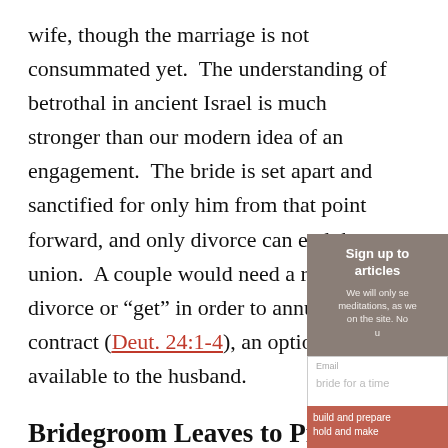wife, though the marriage is not consummated yet.  The understanding of betrothal in ancient Israel is much stronger than our modern idea of an engagement.  The bride is set apart and sanctified for only him from that point forward, and only divorce can end the union.  A couple would need a religious divorce or “get” in order to annul the contract (Deut. 24:1-4), an option only available to the husband.
Bridegroom Leaves to Prepare a Place
The bridegroom then has to leave his bride for a time (generally around a year).  He goes to build and prepare a home for them in his father’s household and make